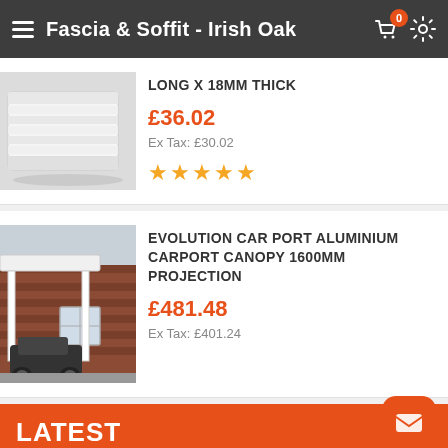Fascia & Soffit - Irish Oak
LONG X 18MM THICK
£36.02
Ex Tax: £30.02
[Figure (photo): White fascia board product image]
[Figure (photo): Evolution car port aluminium carport canopy 1600mm projection – photo of installed carport against brick house]
EVOLUTION CAR PORT ALUMINIUM CARPORT CANOPY 1600MM PROJECTION
£481.48
Ex Tax: £401.24
LATEST